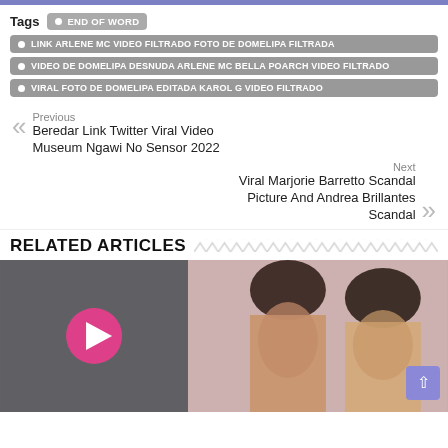• END OF WORD
• LINK ARLENE MC VIDEO FILTRADO FOTO DE DOMELIPA FILTRADA
• VIDEO DE DOMELIPA DESNUDA ARLENE MC BELLA POARCH VIDEO FILTRADO
• VIRAL FOTO DE DOMELIPA EDITADA KAROL G VIDEO FILTRADO
Previous
Beredar Link Twitter Viral Video Museum Ngawi No Sensor 2022
Next
Viral Marjorie Barretto Scandal Picture And Andrea Brillantes Scandal
RELATED ARTICLES
[Figure (photo): Two women posing, with a video thumbnail on the left showing a play button, and two women on the right side]